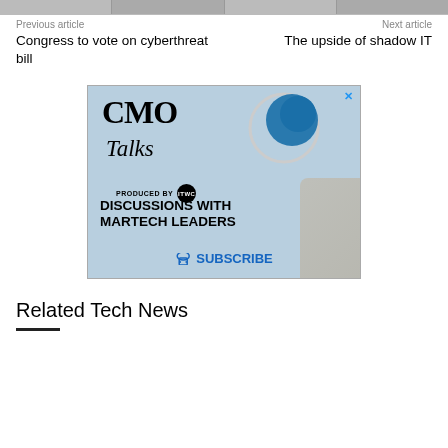[Figure (photo): Top image strip showing article thumbnails]
Previous article
Next article
Congress to vote on cyberthreat bill
The upside of shadow IT
[Figure (illustration): CMO Talks advertisement produced by ITWC - Discussions with Martech Leaders - Subscribe]
Related Tech News